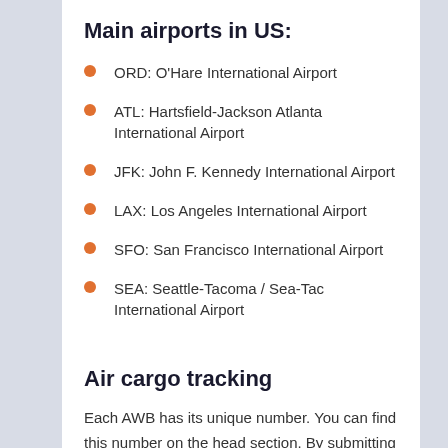Main airports in US:
ORD: O'Hare International Airport
ATL: Hartsfield-Jackson Atlanta International Airport
JFK: John F. Kennedy International Airport
LAX: Los Angeles International Airport
SFO: San Francisco International Airport
SEA: Seattle-Tacoma / Sea-Tac International Airport
Air cargo tracking
Each AWB has its unique number. You can find this number on the head section. By submitting the number on the tracking page of the airline's official